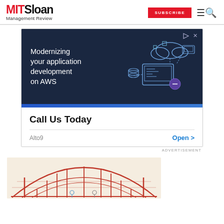MIT Sloan Management Review — SUBSCRIBE
[Figure (screenshot): Advertisement banner: dark navy background with illustration of cloud computing / AWS application development icons and text 'Modernizing your application development on AWS'. Below a blue stripe, white section reads 'Call Us Today', with 'Alto9' and 'Open >' link. Labeled ADVERTISEMENT.]
[Figure (illustration): Partial illustration showing a red arch bridge on a beige/cream background, with small human figures on the bridge.]